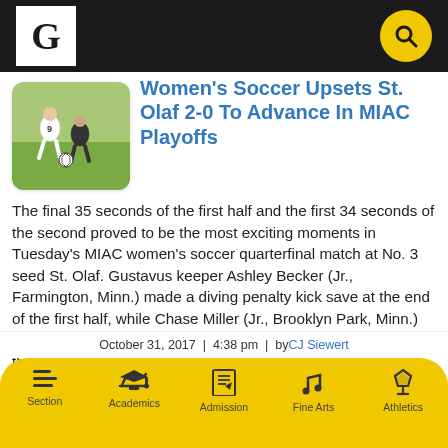Gustavus Adolphus College — site header with logo and search
[Figure (photo): Thumbnail photo of women's soccer players on a field]
Women's Soccer Upsets St. Olaf 2-0 To Advance In MIAC Playoffs
The final 35 seconds of the first half and the first 34 seconds of the second proved to be the most exciting moments in Tuesday's MIAC women's soccer quarterfinal match at No. 3 seed St. Olaf. Gustavus keeper Ashley Becker (Jr., Farmington, Minn.) made a diving penalty kick save at the end of the first half, while Chase Miller (Jr., Brooklyn Park, Minn.) worked around a number of defenders in the box and found the left side of the net for a goal to start the second, which proved to
October 31, 2017  |  4:38 pm  |  by CJ Siewert